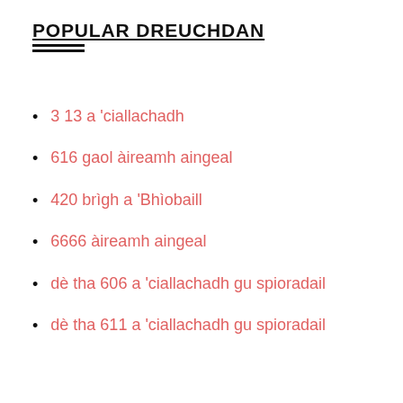POPULAR DREUCHDAN
3 13 a 'ciallachadh
616 gaol àireamh aingeal
420 brìgh a 'Bhìobaill
6666 àireamh aingeal
dè tha 606 a 'ciallachadh gu spioradail
dè tha 611 a 'ciallachadh gu spioradail